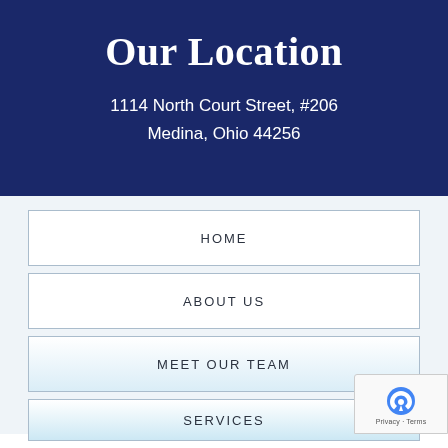Our Location
1114 North Court Street, #206
Medina, Ohio 44256
HOME
ABOUT US
MEET OUR TEAM
SERVICES